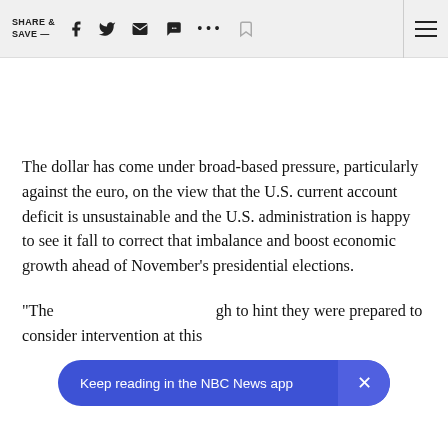SHARE & SAVE —
The dollar has come under broad-based pressure, particularly against the euro, on the view that the U.S. current account deficit is unsustainable and the U.S. administration is happy to see it fall to correct that imbalance and boost economic growth ahead of November's presidential elections.
"The [text obscured] gh to hint they were prepared to consider intervention at this
[Figure (other): NBC News app banner overlay reading 'Keep reading in the NBC News app' with a close (×) button]